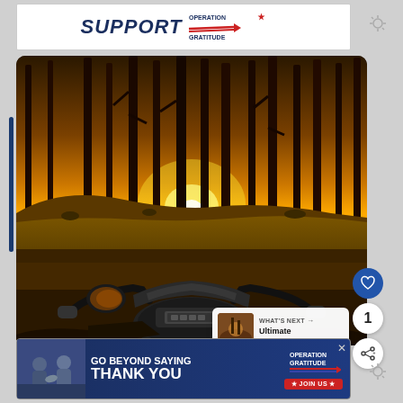[Figure (other): Top advertisement banner: white background with 'SUPPORT' in bold navy italic text and 'OPERATION GRATITUDE' logo with flag/swoosh design]
[Figure (photo): Main photograph: view from motorcycle handlebars and dashboard looking through pine forest at golden sunset; warm amber tones, dramatic backlighting through trees, rocky trail ground visible]
[Figure (other): Overlay UI: heart/like button (blue circle), share count badge showing '1', share button (white circle with share icon)]
[Figure (other): What's Next panel: small thumbnail of outdoor scene, text 'WHAT'S NEXT → Ultimate Outdoor Ge...']
[Figure (other): Bottom advertisement banner: dark navy background, photo of people shaking hands, text 'GO BEYOND SAYING THANK YOU', Operation Gratitude logo with stars, red 'JOIN US' button, close X button]